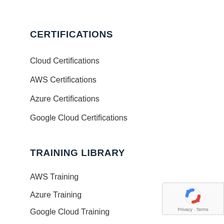CERTIFICATIONS
Cloud Certifications
AWS Certifications
Azure Certifications
Google Cloud Certifications
TRAINING LIBRARY
AWS Training
Azure Training
Google Cloud Training
Alibaba Cloud Training